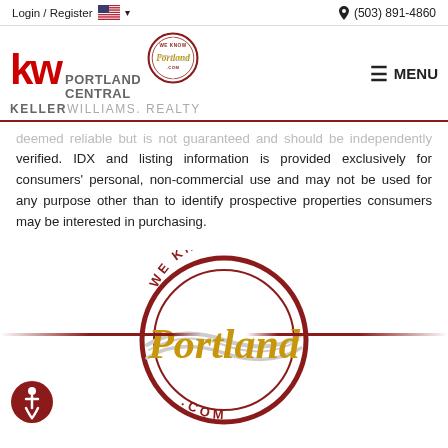Login / Register | (503) 891-4860
[Figure (logo): Keller Williams Portland Central logo with We Know Portland.com badge and hamburger menu]
deemed reliable but is not guaranteed and should be independently verified. IDX and listing information is provided exclusively for consumers' personal, non-commercial use and may not be used for any purpose other than to identify prospective properties consumers may be interested in purchasing.
[Figure (logo): We Know Portland.com circular stamp logo in dark red and gold with decorative swoosh lines]